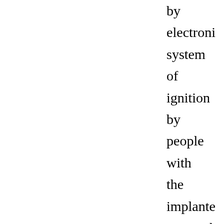by electronic system of ignition by people with the implanted pacemaker is not allowed.